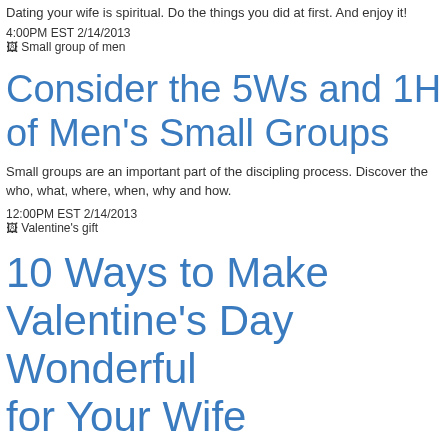Dating your wife is spiritual. Do the things you did at first. And enjoy it!
4:00PM EST 2/14/2013
[Figure (photo): Broken image placeholder labeled 'Small group of men']
Consider the 5Ws and 1H of Men’s Small Groups
Small groups are an important part of the discipling process. Discover the who, what, where, when, why and how.
12:00PM EST 2/14/2013
[Figure (photo): Broken image placeholder labeled 'Valentine’s gift']
10 Ways to Make Valentine’s Day Wonderful for Your Wife
You may not need to give candy and flowers, or go out for an expensive dinner to impress your wife on Valentine’s Day. Check out these tips.